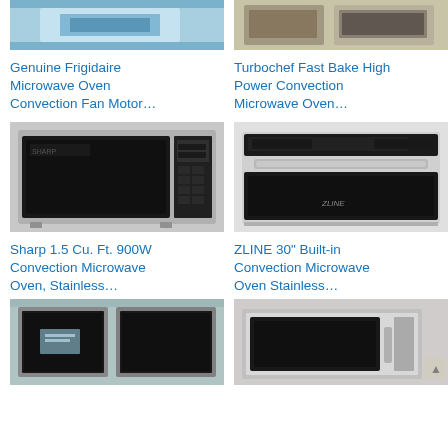[Figure (photo): Frigidaire microwave oven convection fan motor part, blue background]
[Figure (photo): Turbochef Fast Bake High Power Convection Microwave Oven in kitchen setting]
Genuine Frigidaire Microwave Oven Convection Fan Motor…
Turbochef Fast Bake High Power Convection Microwave Oven…
[Figure (photo): Sharp 1.5 Cu. Ft. 900W Convection Microwave Oven, stainless steel]
[Figure (photo): ZLINE 30 inch Built-in Convection Microwave Oven Stainless steel]
Sharp 1.5 Cu. Ft. 900W Convection Microwave Oven, Stainless…
ZLINE 30" Built-in Convection Microwave Oven Stainless…
[Figure (photo): Stainless steel convection microwave oven with protective film, bottom left]
[Figure (photo): Built-in convection microwave oven, bottom right, partially visible]